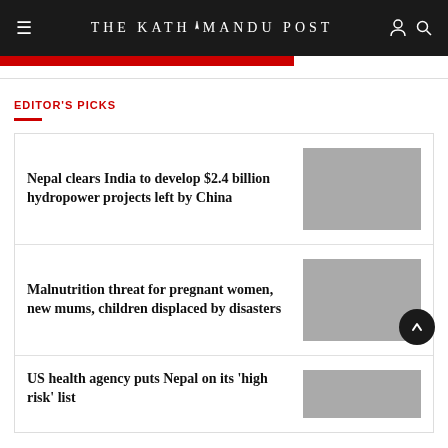THE KATHMANDU POST
EDITOR'S PICKS
Nepal clears India to develop $2.4 billion hydropower projects left by China
[Figure (photo): Placeholder thumbnail image for hydropower article]
Malnutrition threat for pregnant women, new mums, children displaced by disasters
[Figure (photo): Placeholder thumbnail image for malnutrition article]
US health agency puts Nepal on its 'high risk' list